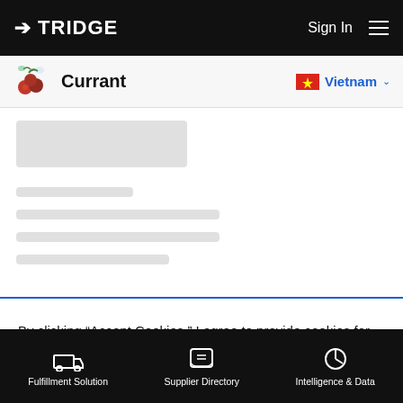TRIDGE | Sign In
Currant
[Figure (screenshot): Loading skeleton placeholder with grey boxes representing blurred content]
By clicking “Accept Cookies,” I agree to provide cookies for statistical and personalized preference purposes. To learn more about our cookies, please read our Privacy Policy.
Accept Cookies
Fulfillment Solution | Supplier Directory | Intelligence & Data